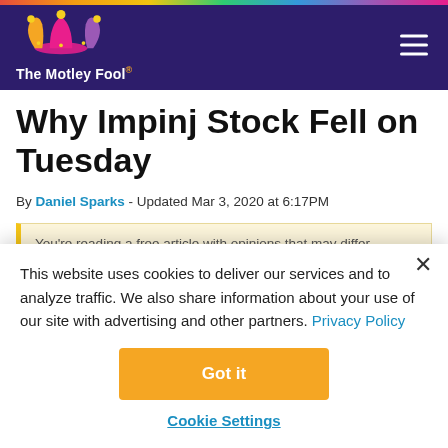The Motley Fool
Why Impinj Stock Fell on Tuesday
By Daniel Sparks - Updated Mar 3, 2020 at 6:17PM
You're reading a free article with opinions that may differ...
This website uses cookies to deliver our services and to analyze traffic. We also share information about your use of our site with advertising and other partners. Privacy Policy
Got it
Cookie Settings